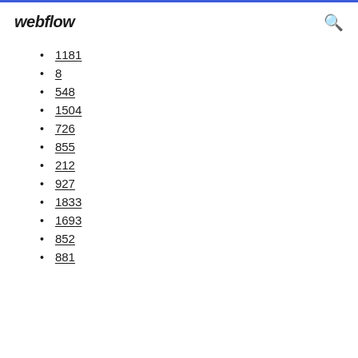webflow
1181
8
548
1504
726
855
212
927
1833
1693
852
881